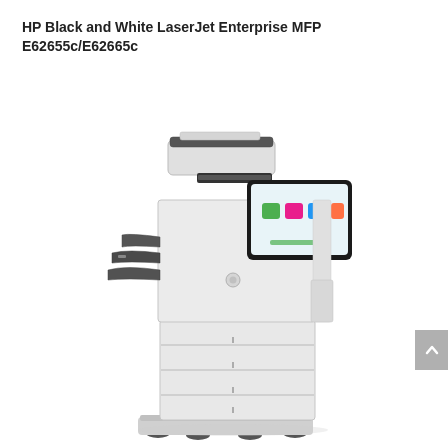HP Black and White LaserJet Enterprise MFP E62655c/E62665c
[Figure (photo): HP Black and White LaserJet Enterprise MFP E62655c/E62665c — a large multifunction laser printer in white and black finish, with a document feeder on top, output trays on the left, a color touchscreen control panel on the upper right, and a tall paper tower with multiple paper drawers and a rolling base stand.]